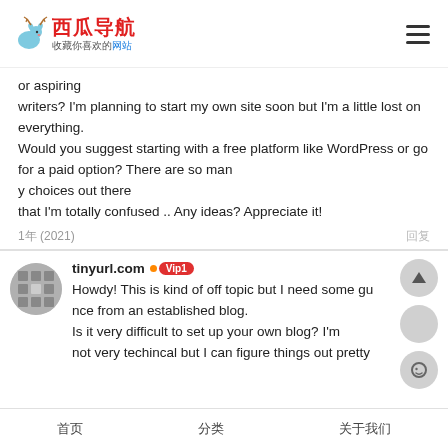西瓜导航 收藏你喜欢的网站
or aspiring
writers? I'm planning to start my own site soon but I'm a little lost on everything.
Would you suggest starting with a free platform like WordPress or go for a paid option? There are so many choices out there
that I'm totally confused .. Any ideas? Appreciate it!
1年 (2021)
tinyurl.com Vip1
Howdy! This is kind of off topic but I need some guidance from an established blog.
Is it very difficult to set up your own blog? I'm not very techincal but I can figure things out pretty
首页  分类  关于我们